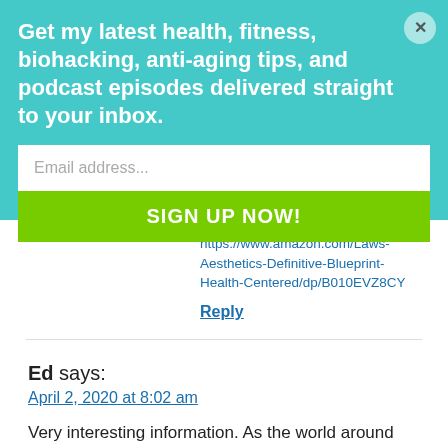Get my latest health, fitness, biohacking, anti-aging tips, and podcast episodes delivered straight to your inbox.
Email address...
SIGN UP NOW!
https://www.amazon.com/Laws-Aesthetics-Definitive-Blueprint-Health-Centered/dp/B010EVZ8CY
Reply
Ed says:
April 2, 2020 at 8:02 am
Very interesting information. As the world around